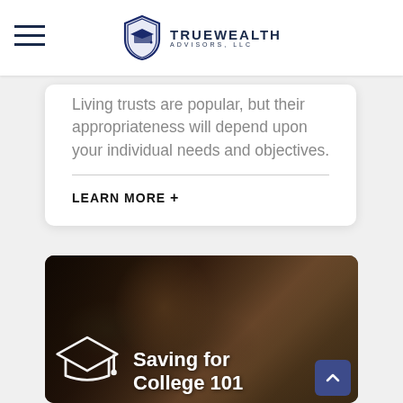[Figure (logo): TrueWealth Advisors LLC logo with shield and graduation cap icon, hamburger menu icon on left]
Living trusts are popular, but their appropriateness will depend upon your individual needs and objectives.
LEARN MORE +
[Figure (photo): Photo of a young man working on a laptop with headphones, dark background. Overlaid with graduation cap icon and text 'Saving for College 101'.]